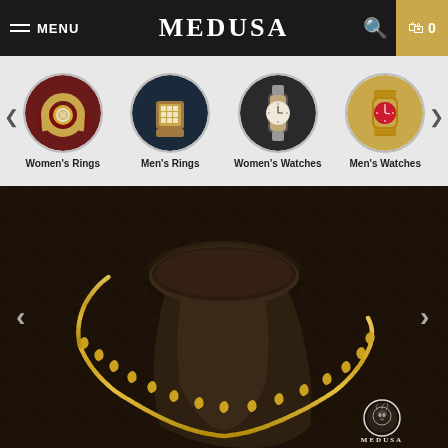MENU | MEDUSA | Search | Cart 0
[Figure (screenshot): Navigation bar with hamburger menu, MEDUSA logo, search icon, and cart with 0 items]
[Figure (screenshot): Four circular category thumbnails: Women's Rings (gold diamond ring on dark red), Men's Rings (gold square diamond ring on dark blue), Women's Watches (gold watch on dark background), Men's Watches (gold watch with red dial)]
Women's Rings | Men's Rings | Women's Watches | Men's Watches
[Figure (photo): Large hero image of a gold chain necklace displayed on a dark jewelry bust/mannequin neck form, with a patterned dark background. Left and right navigation arrows visible. Medusa brand logo watermark in bottom right corner.]